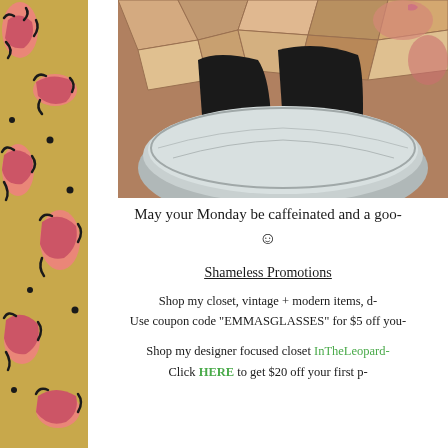[Figure (illustration): Left sidebar with gold/yellow background and pink black leopard print pattern]
[Figure (photo): Person's legs in black pants sitting outdoors on colorful stone pavement, holding a large round metal bowl/tray, with tattoos visible on ankles]
May your Monday be caffeinated and a goo- ☺
Shameless Promotions
Shop my closet, vintage + modern items, d- Use coupon code "EMMASGLASSES" for $5 off you-
Shop my designer focused closet InTheLeopard- Click HERE to get $20 off your first p-